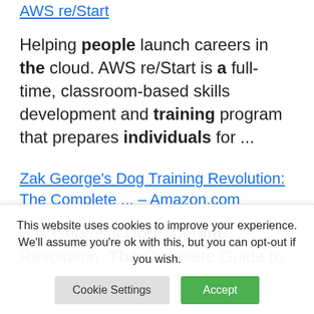AWS re/Start
Helping people launch careers in the cloud. AWS re/Start is a full-time, classroom-based skills development and training program that prepares individuals for ...
Zak George's Dog Training Revolution: The Complete ... – Amazon.com
Zak George's Dog Training Revolution: The Complete Guide to
This website uses cookies to improve your experience. We'll assume you're ok with this, but you can opt-out if you wish.